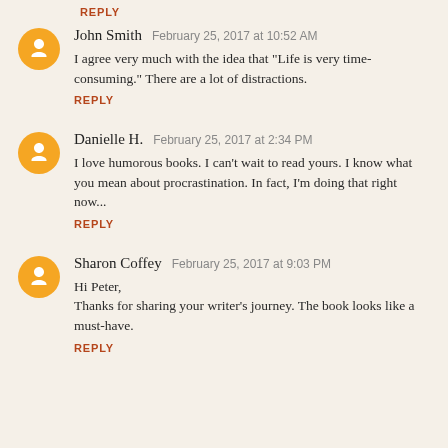REPLY
John Smith  February 25, 2017 at 10:52 AM
I agree very much with the idea that "Life is very time-consuming." There are a lot of distractions.
REPLY
Danielle H.  February 25, 2017 at 2:34 PM
I love humorous books. I can't wait to read yours. I know what you mean about procrastination. In fact, I'm doing that right now...
REPLY
Sharon Coffey  February 25, 2017 at 9:03 PM
Hi Peter,
Thanks for sharing your writer's journey. The book looks like a must-have.
REPLY